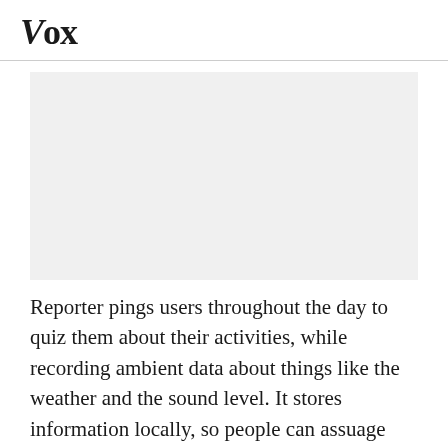Vox
[Figure (photo): Image placeholder — white/light gray rectangular area below the Vox header]
Reporter pings users throughout the day to quiz them about their activities, while recording ambient data about things like the weather and the sound level. It stores information locally, so people can assuage their concerns about personal data leaks.